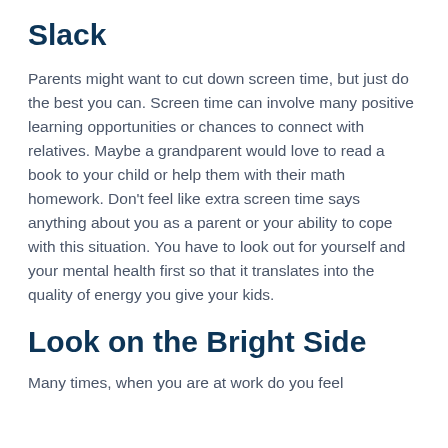Slack
Parents might want to cut down screen time, but just do the best you can. Screen time can involve many positive learning opportunities or chances to connect with relatives. Maybe a grandparent would love to read a book to your child or help them with their math homework. Don't feel like extra screen time says anything about you as a parent or your ability to cope with this situation. You have to look out for yourself and your mental health first so that it translates into the quality of energy you give your kids.
Look on the Bright Side
Many times, when you are at work do you feel